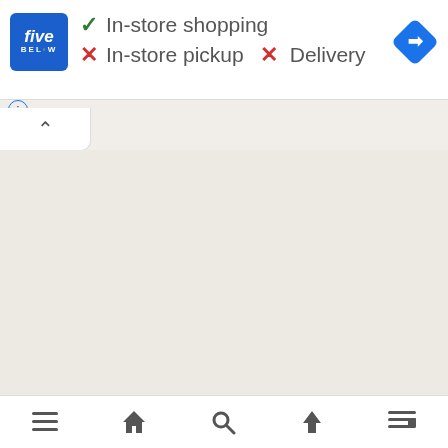[Figure (screenshot): Five Below store info card showing in-store shopping available (green check), in-store pickup unavailable (red X), and Delivery unavailable (red X), with a Google Maps navigation icon on the right]
[Figure (screenshot): Google Maps bottom sheet expand tab with upward caret arrow]
[Figure (screenshot): Google Maps bottom navigation bar with menu, home, search, directions, and layers icons]